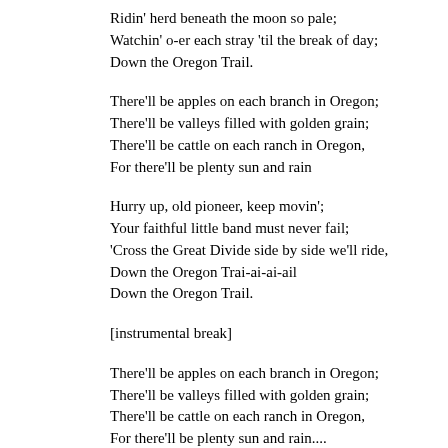Ridin' herd beneath the moon so pale;
Watchin' o-er each stray 'til the break of day;
Down the Oregon Trail.
There'll be apples on each branch in Oregon;
There'll be valleys filled with golden grain;
There'll be cattle on each ranch in Oregon,
For there'll be plenty sun and rain
Hurry up, old pioneer, keep movin';
Your faithful little band must never fail;
'Cross the Great Divide side by side we'll ride,
Down the Oregon Trai-ai-ai-ail
Down the Oregon Trail.
[instrumental break]
There'll be apples on each branch in Oregon;
There'll be valleys filled with golden grain;
There'll be cattle on each ranch in Oregon,
For there'll be plenty sun and rain....
Hurry up, old pioneer, keep movin',
Your faithful little band must never fail;
'Cross the Great Divide side by side we'll ride,